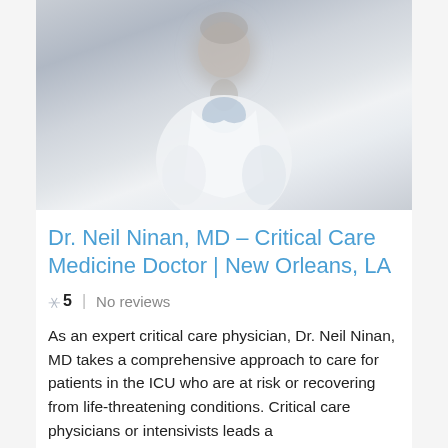[Figure (photo): Blurred photo of a male doctor in a white coat against a light grey background]
Dr. Neil Ninan, MD – Critical Care Medicine Doctor | New Orleans, LA
5   No reviews
As an expert critical care physician, Dr. Neil Ninan, MD takes a comprehensive approach to care for patients in the ICU who are at risk or recovering from life-threatening conditions. Critical care physicians or intensivists leads a